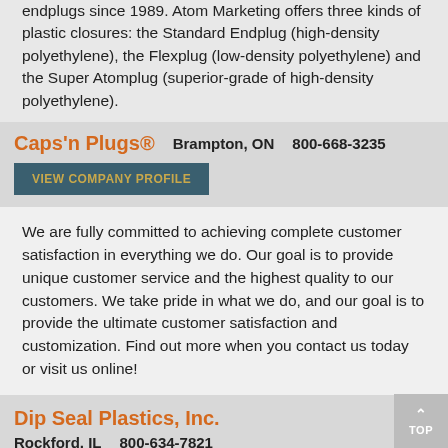endplugs since 1989. Atom Marketing offers three kinds of plastic closures: the Standard Endplug (high-density polyethylene), the Flexplug (low-density polyethylene) and the Super Atomplug (superior-grade of high-density polyethylene).
Caps'n Plugs®
Brampton, ON   800-668-3235
VIEW COMPANY PROFILE
We are fully committed to achieving complete customer satisfaction in everything we do. Our goal is to provide unique customer service and the highest quality to our customers. We take pride in what we do, and our goal is to provide the ultimate customer satisfaction and customization. Find out more when you contact us today or visit us online!
Dip Seal Plastics, Inc.
Rockford, IL   800-634-7821
VIEW COMPANY PROFILE